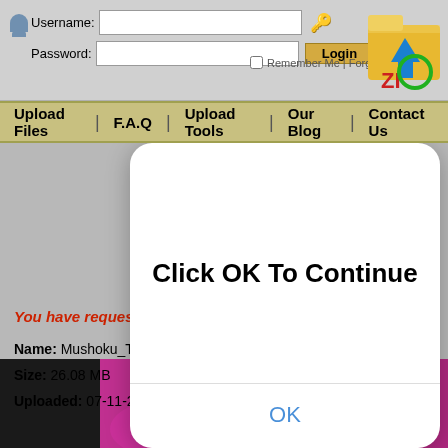[Figure (screenshot): Login form with username and password fields, Login button, Remember Me checkbox, and Forgot Password link. Folder icon with ZI logo top right.]
[Figure (screenshot): Navigation bar with links: Upload Files, F.A.Q, Upload Tools, Our Blog, Contact Us on a tan/olive background.]
[Figure (screenshot): Modal dialog box with white rounded rectangle showing 'Click OK To Continue' in bold and 'OK' link in blue below a divider.]
You have requested the file:
Name: Mushoku_Tensei_S2_06_id_[360p].mp4
Size: 26.08 MB
Uploaded: 07-11-2021 19:46
[Figure (screenshot): Video thumbnail preview at bottom of page showing colorful anime style image with dark, pink, and yellow sections.]